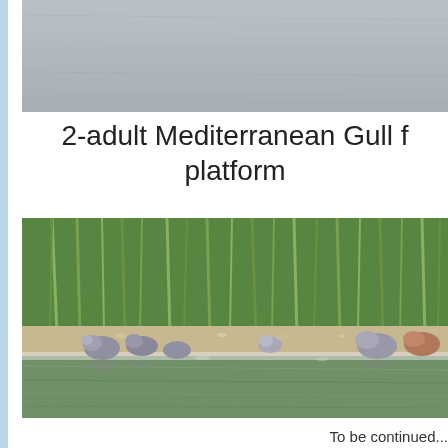[Figure (photo): Partial photo of water surface (grey, rippled water), cropped at top — appears to be a bird on water scene, top portion only visible]
2-adult Mediterranean Gull f platform
[Figure (photo): Birds (waders/shorebirds) resting on a sandy mudflat bank beside green water, with tall green reeds in the background]
To be continued...